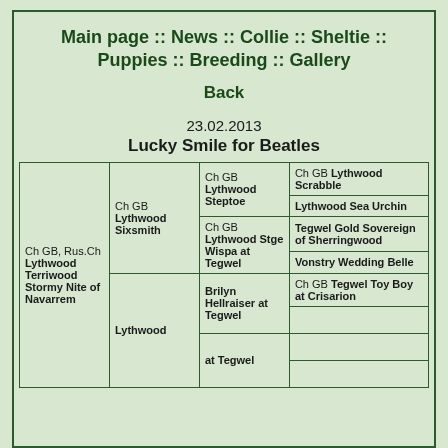Main page :: News :: Collie :: Sheltie :: Puppies :: Breeding :: Gallery
Back
23.02.2013
Lucky Smile for Beatles
| Ch GB, Rus.Ch Lythwood Terriwood Stormy Nite of Navarrem | Ch GB Lythwood Sixsmith | Ch GB Lythwood Steptoe | Ch GB Lythwood Scrabble |
|  |  |  | Lythwood Sea Urchin |
|  |  | Ch GB Lythwood Stge Wispa at Tegwel | Tegwel Gold Sovereign of Sherringwood |
|  |  |  | Vonstry Wedding Belle |
|  | Lythwood... | Brilyn Hellraiser at Tegwel | Ch GB Tegwel Toy Boy at Crisarion |
|  |  | at Tegwel |  |